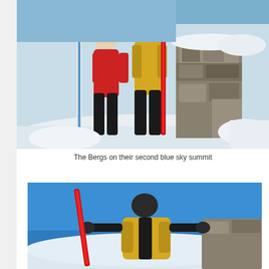[Figure (photo): Two skiers, one in red jacket and one in yellow/black jacket, standing next to a stone cairn or monument on a snowy mountain summit under blue sky, each holding skis upright.]
The Bergs on their second blue sky summit
[Figure (photo): A single skier in a yellow and black jacket holding red skis upright, standing on a snowy mountain summit with a stone structure visible behind, under a bright blue sky.]